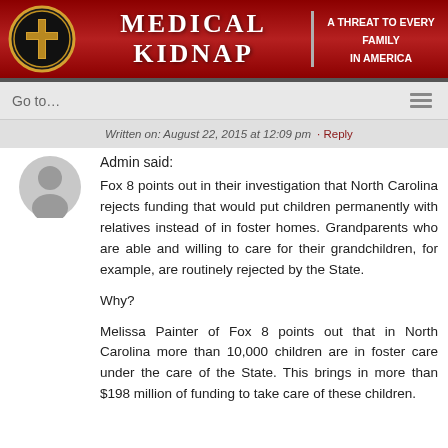MEDICAL KIDNAP | A THREAT TO EVERY FAMILY IN AMERICA
Go to...
Written on: August 22, 2015 at 12:09 pm · Reply
Admin said:
Fox 8 points out in their investigation that North Carolina rejects funding that would put children permanently with relatives instead of in foster homes. Grandparents who are able and willing to care for their grandchildren, for example, are routinely rejected by the State.

Why?

Melissa Painter of Fox 8 points out that in North Carolina more than 10,000 children are in foster care under the care of the State. This brings in more than $198 million of funding to take care of these children.